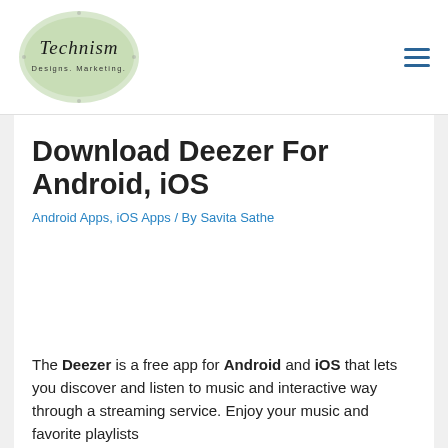[Figure (logo): Technism logo — handwritten script text 'Technism' on a green watercolor oval, with tagline 'Designs. Marketing.' beneath]
Technism — Designs. Marketing.
Download Deezer For Android, iOS
Android Apps, iOS Apps / By Savita Sathe
The Deezer is a free app for Android and iOS that lets you discover and listen to music and interactive way through a streaming service. Enjoy your music and favorite playlists...